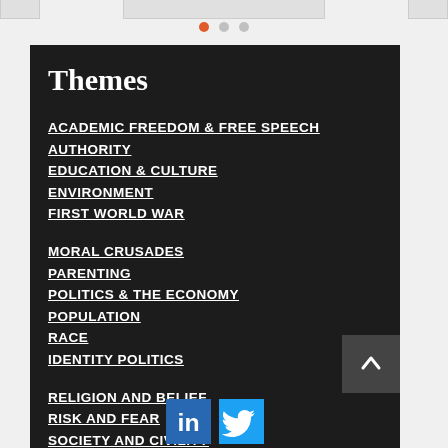Themes
ACADEMIC FREEDOM & FREE SPEECH
AUTHORITY
EDUCATION & CULTURE
ENVIRONMENT
FIRST WORLD WAR
MORAL CRUSADES
PARENTING
POLITICS & THE ECONOMY
POPULATION
RACE
IDENTITY POLITICS
RELIGION AND BELIEF
RISK AND FEAR
SOCIETY AND CIVILITY
THERAPY CULTURE
CULTURE WARS
COVID-19
[Figure (logo): LinkedIn and Twitter social media icons]